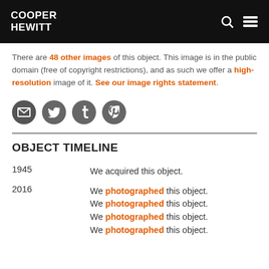COOPER HEWITT
There are 48 other images of this object. This image is in the public domain (free of copyright restrictions), and as such we offer a high-resolution image of it. See our image rights statement.
[Figure (infographic): Social sharing icons: email, Twitter, Tumblr, Pinterest]
OBJECT TIMELINE
| Year | Event |
| --- | --- |
| 1945 | We acquired this object. |
| 2016 | We photographed this object. |
| 2016 | We photographed this object. |
| 2016 | We photographed this object. |
| 2016 | We photographed this object. |